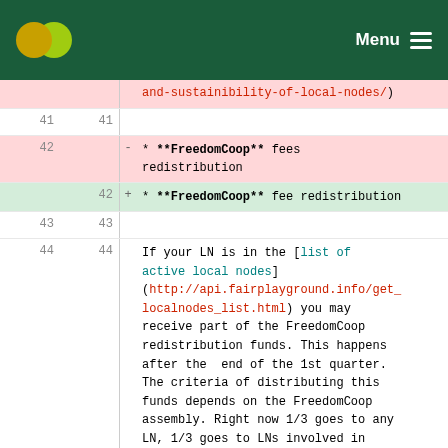Menu
| line-old | line-new | marker | content |
| --- | --- | --- | --- |
|  |  |  | and-sustainibility-of-local-nodes/) |
| 41 | 41 |  |  |
| 42 |  | - | * **FreedomCoop** fees redistribution |
|  | 42 | + | * **FreedomCoop** fee redistribution |
| 43 | 43 |  |  |
| 44 | 44 |  | If your LN is in the [list of active local nodes](http://api.fairplayground.info/get_localnodes_list.html) you may receive part of the FreedomCoop redistribution funds. This happens after the  end of the 1st quarter. The criteria of distributing this funds depends on the FreedomCoop assembly. Right now 1/3 goes to any LN, 1/3 goes to LNs involved in Freedomcoop and 1/3 goes proportionally to the fees paid by... |